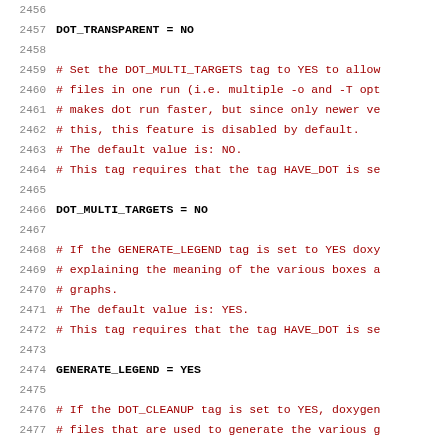2456 (empty line)
2457   DOT_TRANSPARENT          = NO
2458 (empty line)
2459   # Set the DOT_MULTI_TARGETS tag to YES to allow
2460   # files in one run (i.e. multiple -o and -T opt
2461   # makes dot run faster, but since only newer ve
2462   # this, this feature is disabled by default.
2463   # The default value is: NO.
2464   # This tag requires that the tag HAVE_DOT is se
2465 (empty line)
2466   DOT_MULTI_TARGETS          = NO
2467 (empty line)
2468   # If the GENERATE_LEGEND tag is set to YES doxy
2469   # explaining the meaning of the various boxes a
2470   # graphs.
2471   # The default value is: YES.
2472   # This tag requires that the tag HAVE_DOT is se
2473 (empty line)
2474   GENERATE_LEGEND          = YES
2475 (empty line)
2476   # If the DOT_CLEANUP tag is set to YES, doxygen
2477   # files that are used to generate the various g